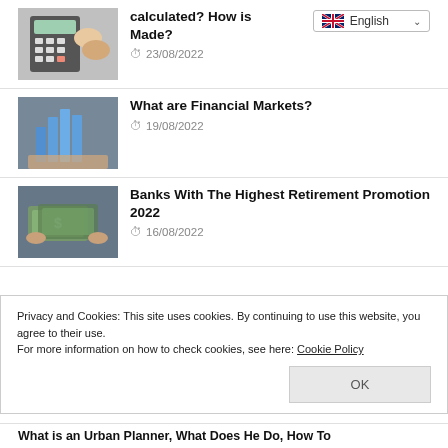[Figure (photo): Hands on a calculator keyboard]
calculated? How is Made?
23/08/2022
[Figure (photo): Hands holding upward blue bar chart pillars]
What are Financial Markets?
19/08/2022
[Figure (photo): Hands holding banknotes/currency]
Banks With The Highest Retirement Promotion 2022
16/08/2022
Privacy and Cookies: This site uses cookies. By continuing to use this website, you agree to their use.
For more information on how to check cookies, see here: Cookie Policy
OK
What is an Urban Planner, What Does He Do, How To